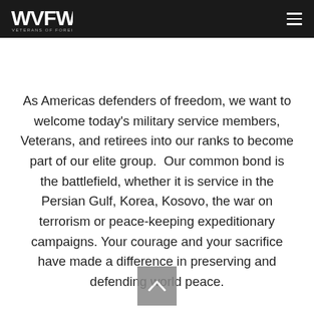[Figure (logo): VFW Veterans of Foreign Wars logo on dark header bar with hamburger menu icon on right]
As Americas defenders of freedom, we want to welcome today's military service members, Veterans, and retirees into our ranks to become part of our elite group.  Our common bond is the battlefield, whether it is service in the Persian Gulf, Korea, Kosovo, the war on terrorism or peace-keeping expeditionary campaigns. Your courage and your sacrifice have made a difference in preserving and defending world peace.